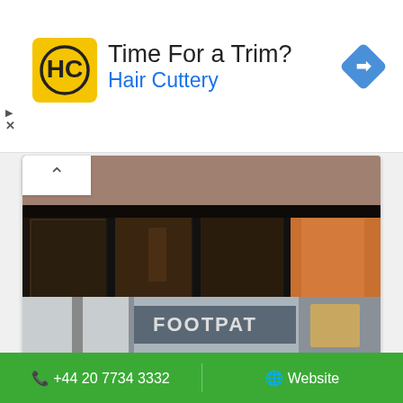[Figure (screenshot): Hair Cuttery ad banner with yellow HC logo, headline 'Time For a Trim?', brand name 'Hair Cuttery' in blue, and a blue diamond navigation icon on the right]
[Figure (photo): Photo of a storefront with dark black window frames and glass panels, brick building exterior]
Supreme
2/3 Peter St, London W1F 0AA, UK
[Figure (photo): Partial photo of another storefront with 'FOOTPAT...' text visible on the shop sign, grey/white exterior]
☎ +44 20 7734 3332
🌐 Website